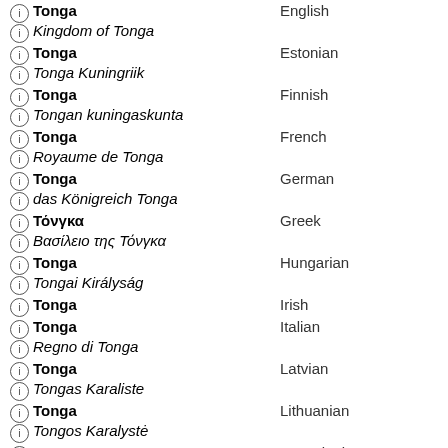Tonga — English / Kingdom of Tonga
Tonga — Estonian / Tonga Kuningriik
Tonga — Finnish / Tongan kuningaskunta
Tonga — French / Royaume de Tonga
Tonga — German / das Königreich Tonga
Τόνγκα — Greek / Βασίλειο της Τόνγκα
Tonga — Hungarian / Tongai Királyság
Tonga — Irish
Tonga — Italian / Regno di Tonga
Tonga — Latvian / Tongas Karaliste
Tonga — Lithuanian / Tongos Karalystė
Тонга — Macedonian / Кралство Тонга